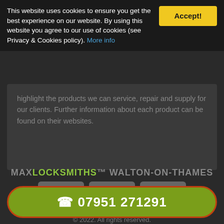This website uses cookies to ensure you get the best experience on our website. By using this website you agree to our use of cookies (see Privacy & Cookies policy). More info
Accept!
highlight the products we can service, repair and supply for our clients. Further information about each product can be found on their websites.
MAXLOCKSMITHS™ WALTON-ON-THAMES
[Figure (logo): VISA payment card logo in grey]
[Figure (logo): Mastercard payment card logo in grey with overlapping circles]
[Figure (logo): American Express payment card logo in grey]
© 2022. All rights reserved.
☎ 07951 271291